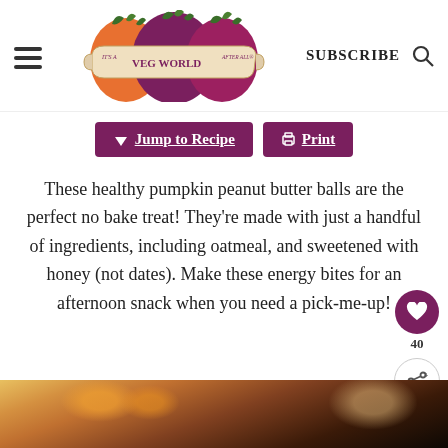It's a Veg World After All — SUBSCRIBE
[Figure (logo): Veg World logo with stylized vegetables and banner reading 'It's a Veg World After All']
Jump to Recipe
Print
These healthy pumpkin peanut butter balls are the perfect no bake treat! They're made with just a handful of ingredients, including oatmeal, and sweetened with honey (not dates). Make these energy bites for an afternoon snack when you need a pick-me-up!
[Figure (photo): Bottom portion of a food/recipe photo showing autumn berries and ingredients on a white background, fading to dark at the bottom]